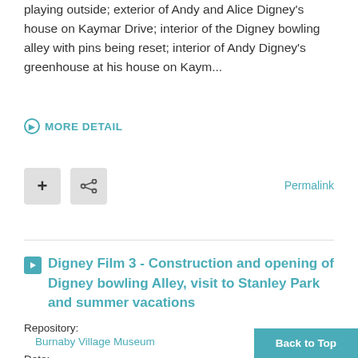playing outside; exterior of Andy and Alice Digney's house on Kaymar Drive; interior of the Digney bowling alley with pins being reset; interior of Andy Digney's greenhouse at his house on Kaym...
MORE DETAIL
Permalink
Digney Film 3 - Construction and opening of Digney bowling Alley, visit to Stanley Park and summer vacations
Repository:
    Burnaby Village Museum
Date:
    [between 1955 and 197_] (date of original), cop
Back to Top